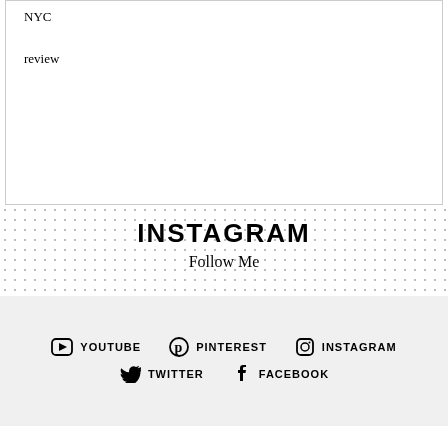NYC
review
INSTAGRAM
Follow Me
YOUTUBE  PINTEREST  INSTAGRAM  TWITTER  FACEBOOK